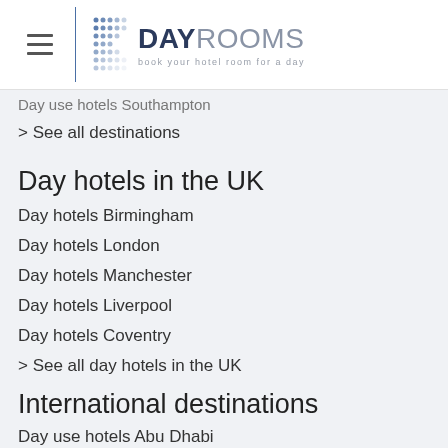DAYROOMS book your hotel room for a day
Day use hotels Southampton
> See all destinations
Day hotels in the UK
Day hotels Birmingham
Day hotels London
Day hotels Manchester
Day hotels Liverpool
Day hotels Coventry
> See all day hotels in the UK
International destinations
Day use hotels Abu Dhabi
Day use hotels Amsterdam